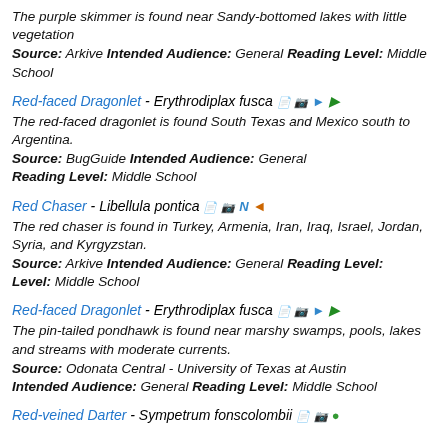The purple skimmer is found near Sandy-bottomed lakes with little vegetation
Source: Arkive Intended Audience: General Reading Level: Middle School
Red-faced Dragonlet - Erythrodiplax fusca
The red-faced dragonlet is found South Texas and Mexico south to Argentina.
Source: BugGuide Intended Audience: General Reading Level: Middle School
Red Chaser - Libellula pontica
The red chaser is found in Turkey, Armenia, Iran, Iraq, Israel, Jordan, Syria, and Kyrgyzstan.
Source: Arkive Intended Audience: General Reading Level: Middle School
Red-faced Dragonlet - Erythrodiplax fusca
The pin-tailed pondhawk is found near marshy swamps, pools, lakes and streams with moderate currents.
Source: Odonata Central - University of Texas at Austin Intended Audience: General Reading Level: Middle School
Red-veined Darter - Sympetrum fonscolombii